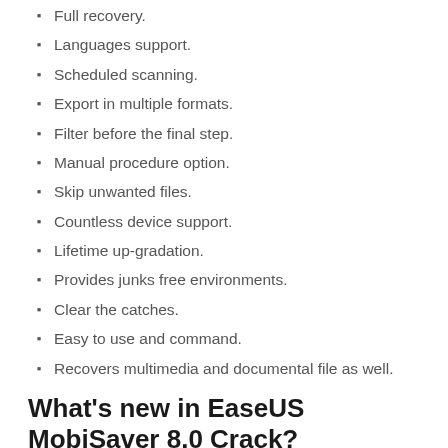Full recovery.
Languages support.
Scheduled scanning.
Export in multiple formats.
Filter before the final step.
Manual procedure option.
Skip unwanted files.
Countless device support.
Lifetime up-gradation.
Provides junks free environments.
Clear the catches.
Easy to use and command.
Recovers multimedia and documental file as well.
What's new in EaseUS MobiSaver 8.0 Crack?
The application cares about the size and quality of the